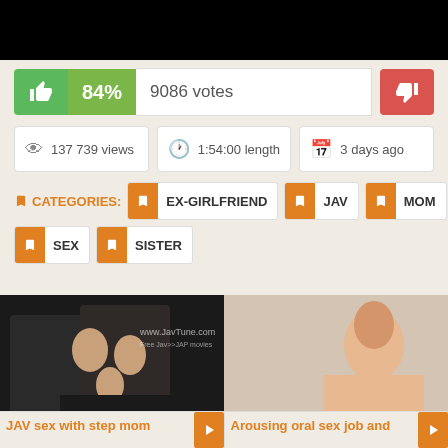[Figure (screenshot): Black bar at top of page (video player area)]
84%  9086 votes
137 739 views  |  1:54:00 length  |  3 days ago
CATEGORIES: EX-GIRLFRIEND  JAV  MOM  SEX  SISTER
[Figure (screenshot): Two video thumbnails side by side showing adult content previews, with advertisement overlay showing 'ADS Jeniffer 2000 (00:12)' with LIVE badge]
JAV sex with step mom
Arousing oral sex job and